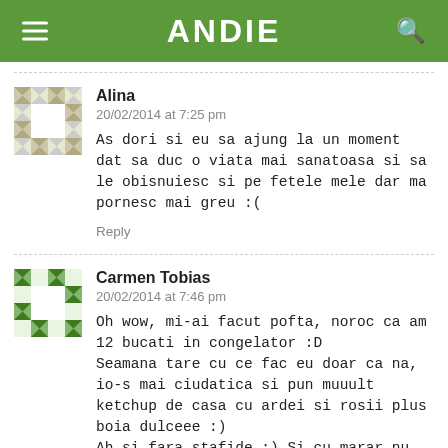ANDIE
Alina
20/02/2014 at 7:25 pm
As dori si eu sa ajung la un moment dat sa duc o viata mai sanatoasa si sa le obisnuiesc si pe fetele mele dar ma pornesc mai greu :(
Reply
Carmen Tobias
20/02/2014 at 7:46 pm
Oh wow, mi-ai facut pofta, noroc ca am 12 bucati in congelator :D
Seamana tare cu ce fac eu doar ca na, io-s mai ciudatica si pun muuult ketchup de casa cu ardei si rosii plus boia dulceee :)
Ah si fara stafide :) Si cu marar nu dafin :)